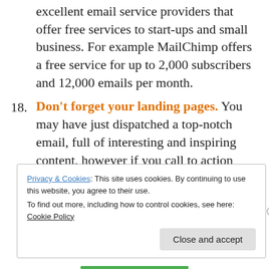excellent email service providers that offer free services to start-ups and small business. For example MailChimp offers a free service for up to 2,000 subscribers and 12,000 emails per month.
18. Don't forget your landing pages. You may have just dispatched a top-notch email, full of interesting and inspiring content, however if you call to action buttons don't take your recipient to an equally well thought out landing page, then your efforts will be wasted.
Privacy & Cookies: This site uses cookies. By continuing to use this website, you agree to their use. To find out more, including how to control cookies, see here: Cookie Policy